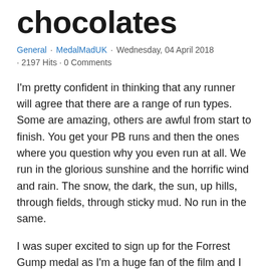chocolates
General · MedalMadUK · Wednesday, 04 April 2018 · 2197 Hits · 0 Comments
I'm pretty confident in thinking that any runner will agree that there are a range of run types. Some are amazing, others are awful from start to finish. You get your PB runs and then the ones where you question why you even run at all. We run in the glorious sunshine and the horrific wind and rain. The snow, the dark, the sun, up hills, through fields, through sticky mud. No run in the same.
I was super excited to sign up for the Forrest Gump medal as I'm a huge fan of the film and I decided to dedicate my first ever 10 mile run to gaining the evidence for it. Up to this point I had never ran more than 7 miles at one time. It was tough but amazing. The feeling that I felt afterwards can only be described as euphoric. At 6 miles in, I felt